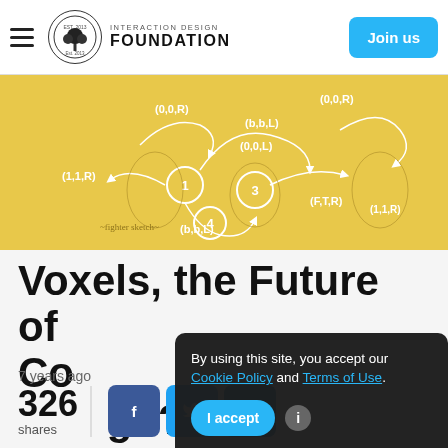Interaction Design Foundation — Join us
[Figure (illustration): Golden/yellow background illustration showing animated fighting characters with state-machine diagram annotations including labels (0,0,R), (0,0,L), (b,b,L), (b,b,L), (1,1,R), (F,T,R) and numbered states 1-4 connected by arrows]
Voxels, the Future of Computational Design?
7 years ago
326 shares
By using this site, you accept our Cookie Policy and Terms of Use.